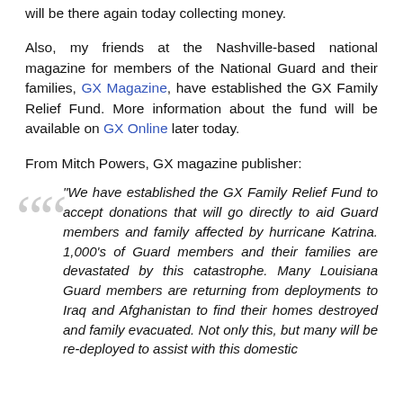will be there again today collecting money.
Also, my friends at the Nashville-based national magazine for members of the National Guard and their families, GX Magazine, have established the GX Family Relief Fund. More information about the fund will be available on GX Online later today.
From Mitch Powers, GX magazine publisher:
“We have established the GX Family Relief Fund to accept donations that will go directly to aid Guard members and family affected by hurricane Katrina. 1,000’s of Guard members and their families are devastated by this catastrophe. Many Louisiana Guard members are returning from deployments to Iraq and Afghanistan to find their homes destroyed and family evacuated. Not only this, but many will be re-deployed to assist with this domestic